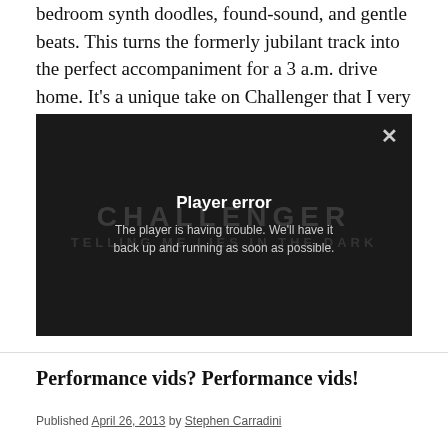bedroom synth doodles, found-sound, and gentle beats. This turns the formerly jubilant track into the perfect accompaniment for a 3 a.m. drive home. It's a unique take on Challenger that I very much enjoy.
[Figure (screenshot): Video player with error message: 'Player error — The player is having trouble. We'll have it back up and running as soon as possible.' Dark background with faint CHALLENGER watermark text.]
Performance vids? Performance vids!
Published April 26, 2013 by Stephen Carradini